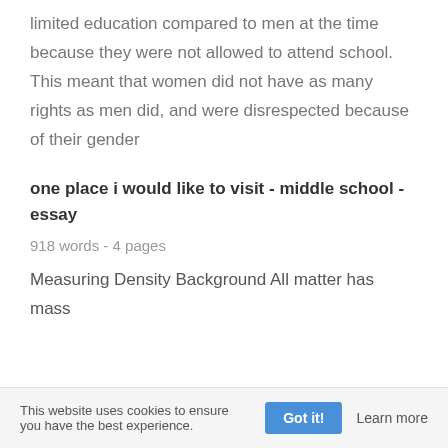limited education compared to men at the time because they were not allowed to attend school. This meant that women did not have as many rights as men did, and were disrespected because of their gender
one place i would like to visit - middle school - essay
918 words - 4 pages
Measuring Density Background All matter has mass
This website uses cookies to ensure you have the best experience.